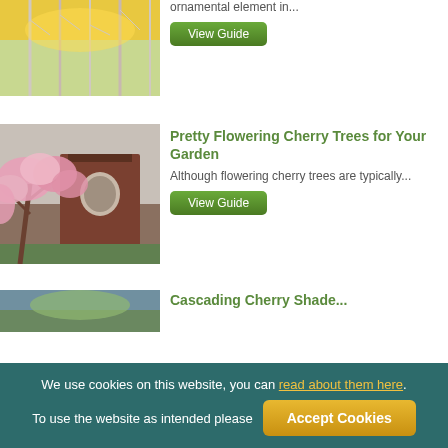[Figure (photo): Winter trees with snow and golden sunset background]
ornamental element in...
View Guide
[Figure (photo): Flowering cherry trees with pink blossoms near a traditional building]
Pretty Flowering Cherry Trees for Your Garden
Although flowering cherry trees are typically...
View Guide
[Figure (photo): Partial view of another garden scene]
Cascading Cherry Shade...
We use cookies on this website, you can read about them here. To use the website as intended please
Accept Cookies